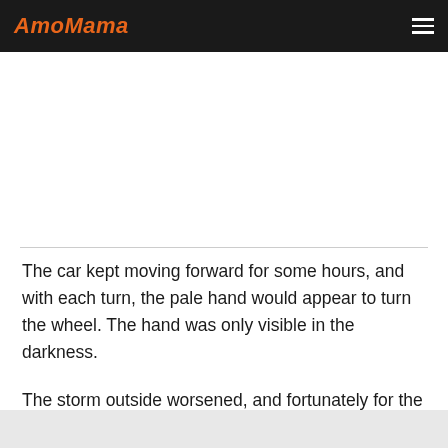AmoMama
The car kept moving forward for some hours, and with each turn, the pale hand would appear to turn the wheel. The hand was only visible in the darkness.
The storm outside worsened, and fortunately for the man, the car finally stopped. He got out of the car and